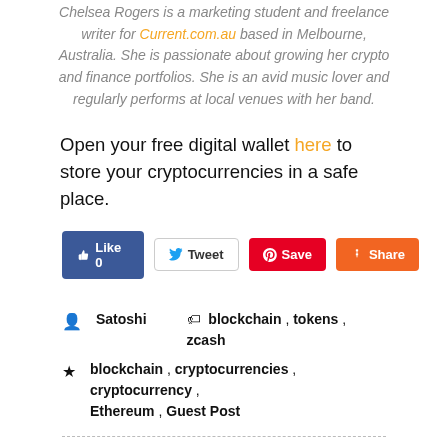Chelsea Rogers is a marketing student and freelance writer for Current.com.au based in Melbourne, Australia. She is passionate about growing her crypto and finance portfolios. She is an avid music lover and regularly performs at local venues with her band.
Open your free digital wallet here to store your cryptocurrencies in a safe place.
[Figure (other): Social sharing buttons: Like 0 (Facebook), Tweet (Twitter), Save (Pinterest), Share (Google+)]
Satoshi   blockchain , tokens , zcash
blockchain , cryptocurrencies , cryptocurrency , Ethereum , Guest Post